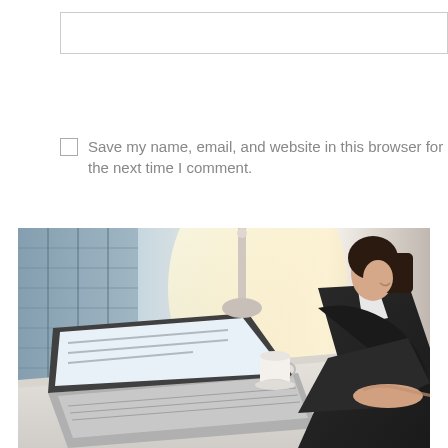[text input field]
Save my name, email, and website in this browser for the next time I comment.
POST COMMENT
[Figure (photo): Business woman in dark blazer typing on laptop at a white desk with a white coffee cup; city window background with warm light; financial charts visible on desk]